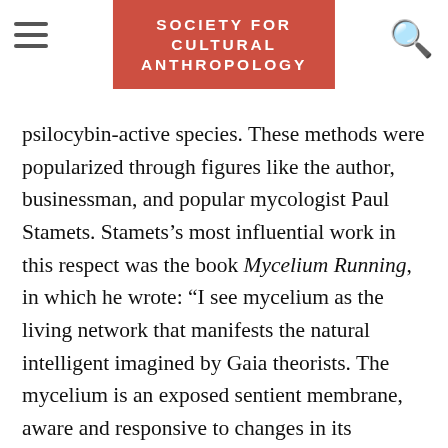SOCIETY FOR CULTURAL ANTHROPOLOGY
psilocybin-active species. These methods were popularized through figures like the author, businessman, and popular mycologist Paul Stamets. Stamets’s most influential work in this respect was the book Mycelium Running, in which he wrote: “I see mycelium as the living network that manifests the natural intelligent imagined by Gaia theorists. The mycelium is an exposed sentient membrane, aware and responsive to changes in its environment” (Stamets 2005, 4).
The culture of do-it-yourself mycology is infused with ecological values and alternative spiritual beliefs. “I